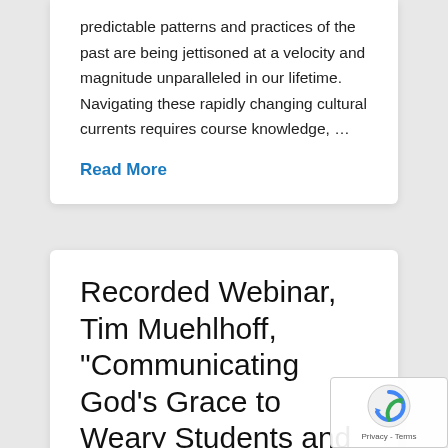predictable patterns and practices of the past are being jettisoned at a velocity and magnitude unparalleled in our lifetime. Navigating these rapidly changing cultural currents requires course knowledge, …
Read More
Recorded Webinar, Tim Muehlhoff, "Communicating God's Grace to Weary Students and Faculty"
ROBERT WOODS / MARCH 6, 2022 /
NEWS CENTER  WEBINARS RECORDED /